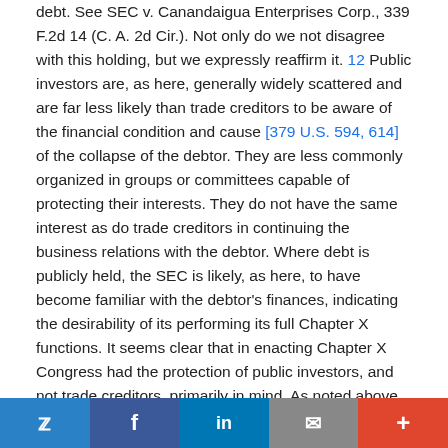debt. See SEC v. Canandaigua Enterprises Corp., 339 F.2d 14 (C. A. 2d Cir.). Not only do we not disagree with this holding, but we expressly reaffirm it. 12 Public investors are, as here, generally widely scattered and are far less likely than trade creditors to be aware of the financial condition and cause [379 U.S. 594, 614] of the collapse of the debtor. They are less commonly organized in groups or committees capable of protecting their interests. They do not have the same interest as do trade creditors in continuing the business relations with the debtor. Where debt is publicly held, the SEC is likely, as here, to have become familiar with the debtor's finances, indicating the desirability of its performing its full Chapter X functions. It seems clear that in enacting Chapter X Congress had the protection of public investors, and not trade creditors, primarily in mind. As noted above, Chapter X is one of many Acts in which the SEC has the statutory right and responsibility to protect public investors. 13 Finally,
Twitter | Facebook | LinkedIn | Email | +